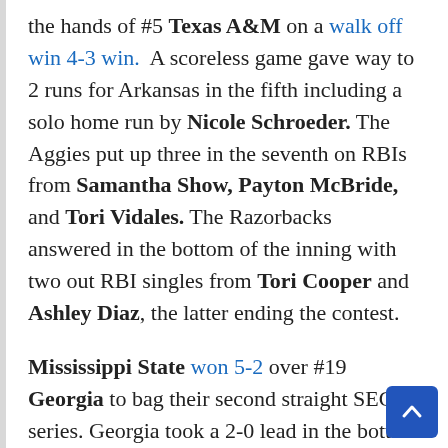the hands of #5 Texas A&M on a walk off win 4-3 win. A scoreless game gave way to 2 runs for Arkansas in the fifth including a solo home run by Nicole Schroeder. The Aggies put up three in the seventh on RBIs from Samantha Show, Payton McBride, and Tori Vidales. The Razorbacks answered in the bottom of the inning with two out RBI singles from Tori Cooper and Ashley Diaz, the latter ending the contest.
Mississippi State won 5-2 over #19 Georgia to bag their second straight SEC series. Georgia took a 2-0 lead in the bottom of the third with RBIs from Sydni Emanuel and Alyssa DiCarlo. Mississippi State responded in the next frame with four runs led by Caroline